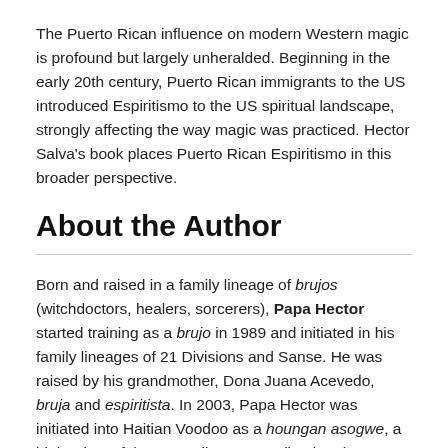The Puerto Rican influence on modern Western magic is profound but largely unheralded. Beginning in the early 20th century, Puerto Rican immigrants to the US introduced Espiritismo to the US spiritual landscape, strongly affecting the way magic was practiced. Hector Salva's book places Puerto Rican Espiritismo in this broader perspective.
About the Author
Born and raised in a family lineage of brujos (witchdoctors, healers, sorcerers), Papa Hector started training as a brujo in 1989 and initiated in his family lineages of 21 Divisions and Sanse. He was raised by his grandmother, Dona Juana Acevedo, bruja and espiritista. In 2003, Papa Hector was initiated into Haitian Voodoo as a houngan asogwe, a high priest of the Asson lineage. He lived and apprenticed for years in Haiti under a number of houngans and mambos. Papa Hector is the author of The 21 Divisions: Mysteries and